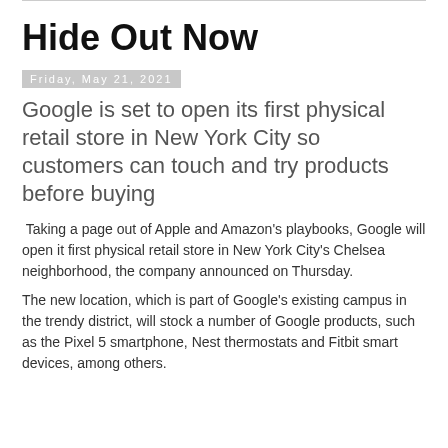Hide Out Now
Friday, May 21, 2021
Google is set to open its first physical retail store in New York City so customers can touch and try products before buying
Taking a page out of Apple and Amazon's playbooks, Google will open it first physical retail store in New York City's Chelsea neighborhood, the company announced on Thursday.
The new location, which is part of Google's existing campus in the trendy district, will stock a number of Google products, such as the Pixel 5 smartphone, Nest thermostats and Fitbit smart devices, among others.